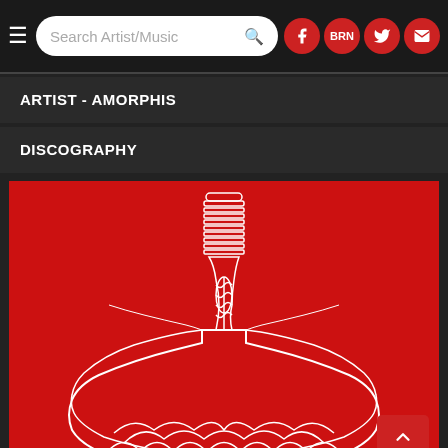Search Artist/Music
ARTIST - AMORPHIS
DISCOGRAPHY
[Figure (illustration): Red background with white line art illustration of a Thor's hammer (Mjolnir) with decorative Viking-style patterns and ornamentation]